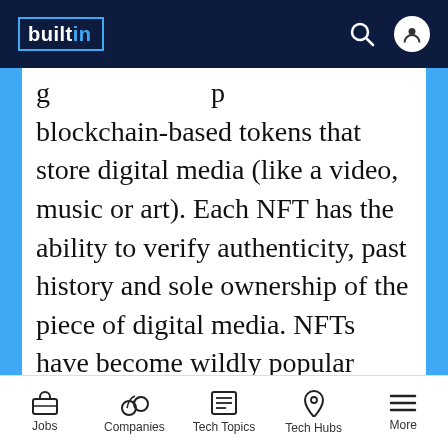builtin
blockchain-based tokens that store digital media (like a video, music or art). Each NFT has the ability to verify authenticity, past history and sole ownership of the piece of digital media. NFTs have become wildly popular because they offer a new wave of digital creators the ability to buy and sell their creations, while
Jobs | Companies | Tech Topics | Tech Hubs | More